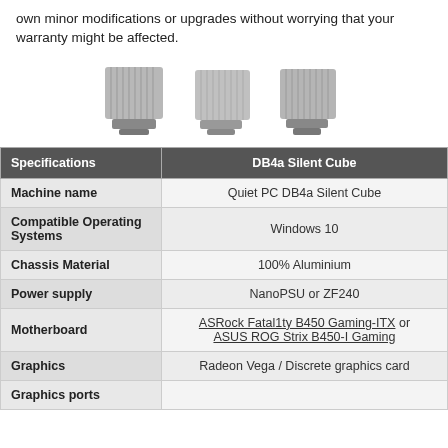own minor modifications or upgrades without worrying that your warranty might be affected.
[Figure (photo): Three aluminium silent cube PC chassis shown side by side]
| Specifications | DB4a Silent Cube |
| --- | --- |
| Machine name | Quiet PC DB4a Silent Cube |
| Compatible Operating Systems | Windows 10 |
| Chassis Material | 100% Aluminium |
| Power supply | NanoPSU or ZF240 |
| Motherboard | ASRock Fatal1ty B450 Gaming-ITX or ASUS ROG Strix B450-I Gaming |
| Graphics | Radeon Vega / Discrete graphics card |
| Graphics ports |  |